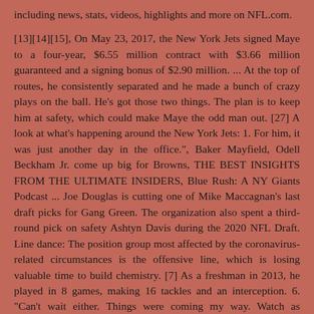including news, stats, videos, highlights and more on NFL.com.
[13][14][15], On May 23, 2017, the New York Jets signed Maye to a four-year, $6.55 million contract with $3.66 million guaranteed and a signing bonus of $2.90 million. ... At the top of routes, he consistently separated and he made a bunch of crazy plays on the ball. He's got those two things. The plan is to keep him at safety, which could make Maye the odd man out. [27] A look at what's happening around the New York Jets: 1. For him, it was just another day in the office.", Baker Mayfield, Odell Beckham Jr. come up big for Browns, THE BEST INSIGHTS FROM THE ULTIMATE INSIDERS, Blue Rush: A NY Giants Podcast ... Joe Douglas is cutting one of Mike Maccagnan's last draft picks for Gang Green. The organization also spent a third-round pick on safety Ashtyn Davis during the 2020 NFL Draft. Line dance: The position group most affected by the coronavirus-related circumstances is the offensive line, which is losing valuable time to build chemistry. [7] As a freshman in 2013, he played in 8 games, making 16 tackles and an interception. 6. "Can't wait either. Things were coming my way. Watch as Marcus Maye comes up with the buttnicl...